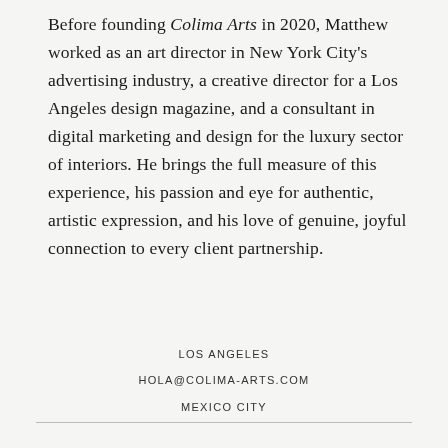Before founding Colima Arts in 2020, Matthew worked as an art director in New York City's advertising industry, a creative director for a Los Angeles design magazine, and a consultant in digital marketing and design for the luxury sector of interiors. He brings the full measure of this experience, his passion and eye for authentic, artistic expression, and his love of genuine, joyful connection to every client partnership.
LOS ANGELES
HOLA@COLIMA-ARTS.COM
MEXICO CITY